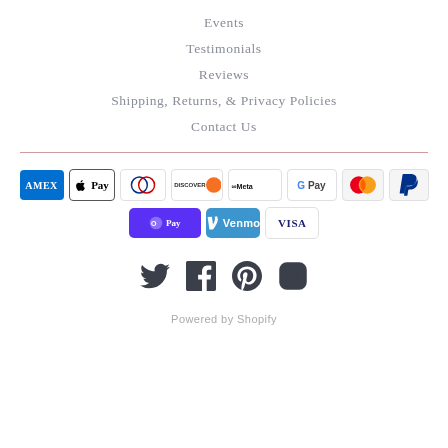Events
Testimonials
Reviews
Shipping, Returns, & Privacy Policies
Contact Us
[Figure (other): Payment method badges: American Express, Apple Pay, Diners Club, Discover, Meta Pay, Google Pay, Mastercard, PayPal, Shop Pay, Venmo, Visa]
[Figure (other): Social media icons: Twitter, Facebook, Pinterest, Instagram]
Powered by Shopify